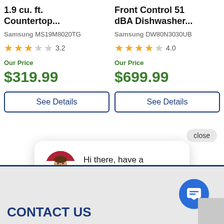1.9 cu. ft. Countertop...
Samsung MS19M8020TG
3.2
Our Price
$319.99
See Details
Front Control 51 dBA Dishwasher...
Samsung DW80N3030UB
4.0
Our Price
$699.99
See Details
close
Hi there, have a question? Text us here.
CONTACT US